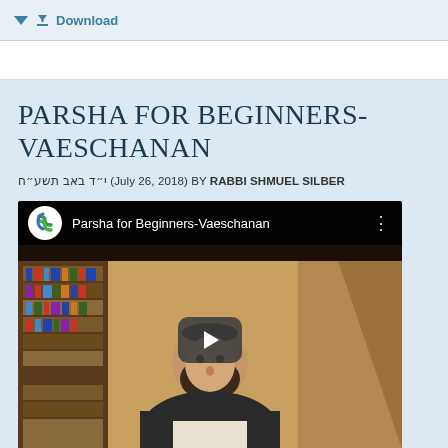Download
PARSHA FOR BEGINNERS-VAESCHANAN
י״ד באב תשע״ח (July 26, 2018) BY RABBI SHMUEL SILBER
[Figure (screenshot): YouTube video embed titled 'Parsha for Beginners-Vaeschanan' showing a rabbi in front of bookshelves with a play button overlay and YouTube logo]